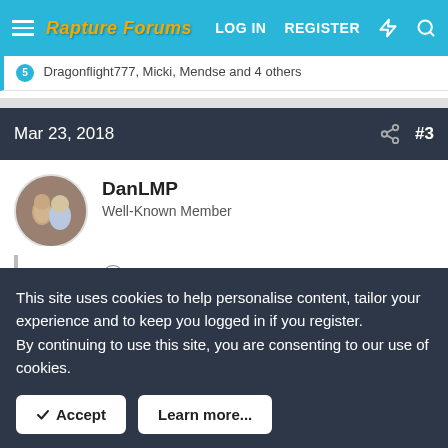Rapture Forums  LOG IN  REGISTER
Dragonflight777, Micki, Mendse and 4 others
Mar 23, 2018  #3
DanLMP
Well-Known Member
Chris said:
Genesis 1:26 is the first reference to a plural Godhead as God said
This site uses cookies to help personalise content, tailor your experience and to keep you logged in if you register.
By continuing to use this site, you are consenting to our use of cookies.
Accept  Learn more...